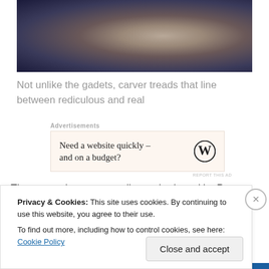[Figure (photo): A dark-toned cinematic still of a man with glasses in a dramatic, low-lit setting]
Not unlike the gadets, carver treads that line between rediculous and real
Advertisements
[Figure (other): WordPress advertisement: Need a website quickly – and on a budget? with WordPress logo]
REPORT THIS AD
The supporting cast are all overshadowed by Pryce as
Privacy & Cookies: This site uses cookies. By continuing to use this website, you agree to their use.
To find out more, including how to control cookies, see here: Cookie Policy
Close and accept